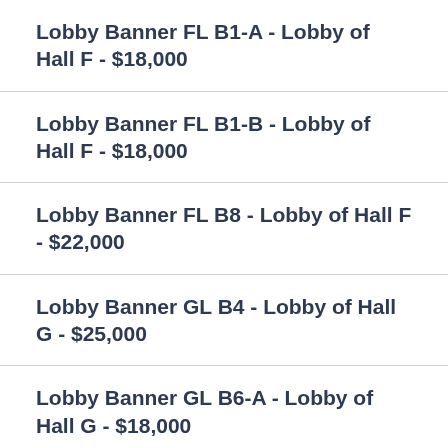Lobby Banner FL B1-A - Lobby of Hall F - $18,000
Lobby Banner FL B1-B - Lobby of Hall F - $18,000
Lobby Banner FL B8 - Lobby of Hall F - $22,000
Lobby Banner GL B4 - Lobby of Hall G - $25,000
Lobby Banner GL B6-A - Lobby of Hall G - $18,000